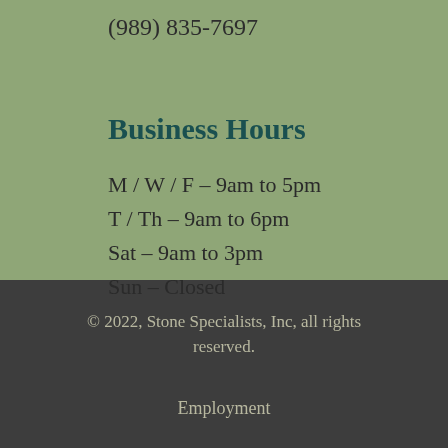(989) 835-7697
Business Hours
M / W / F – 9am to 5pm
T / Th – 9am to 6pm
Sat – 9am to 3pm
Sun – Closed
© 2022, Stone Specialists, Inc, all rights reserved.
Employment